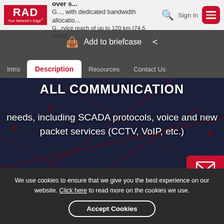[Figure (screenshot): RAD logo with 'Your Network's Edge' tagline in red box, navigation bar with search icon, Sign in text, and red hamburger menu button. Scrolling text behind shows '...em supports up to 750 Mbps over s... G..., with dedicated bandwidth allocatio... G...rvice reach of up to 120 km (74.5 miles)']
Add to briefcase  (share icon)
Intro   Description   Resources   Contact Us
All Communication
needs, including SCADA protocols, voice and new packet services (CCTV, VoIP, etc.)
[Figure (other): Cyber Shield by RAD button with red border and dot icon on dark network background with red connection lines and nodes]
[Figure (other): Red Contact button with envelope icon on right side]
We use cookies to ensure that we give you the best experience on our website. Click here to read more on the cookies we use.
Accept Cookies